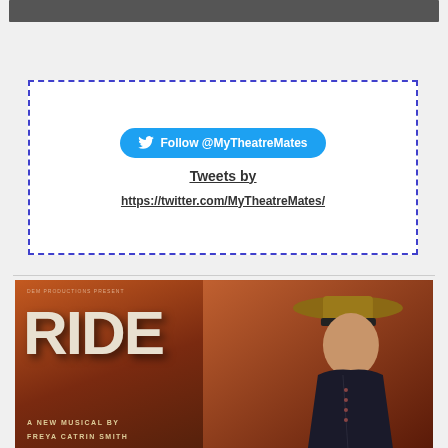[Figure (screenshot): Dark grey navigation bar at the top of the page]
[Figure (screenshot): Twitter widget embed area with dashed purple border, blue Follow @MyTheatreMates button, and text 'Tweets by https://twitter.com/MyTheatreMates/']
Follow @MyTheatreMates
Tweets by https://twitter.com/MyTheatreMates/
[Figure (photo): Promotional poster for 'RIDE' musical by DEM Productions, featuring large white text 'RIDE' and a person wearing a straw hat in Victorian/period costume against a warm brown background. Text reads 'DEM PRODUCTIONS present', 'RIDE', 'A NEW MUSICAL BY', 'FREYA CATRIN SMITH']